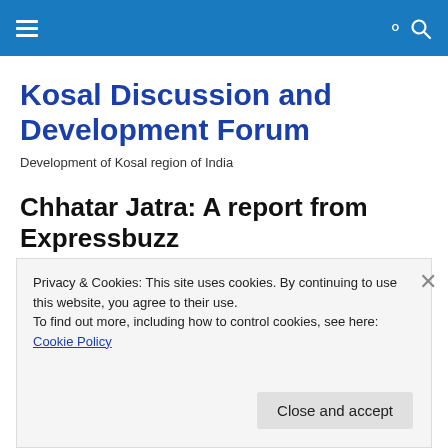Navigation bar with hamburger menu and search icon
Kosal Discussion and Development Forum
Development of Kosal region of India
Chhatar Jatra: A report from Expressbuzz
Privacy & Cookies: This site uses cookies. By continuing to use this website, you agree to their use.
To find out more, including how to control cookies, see here: Cookie Policy